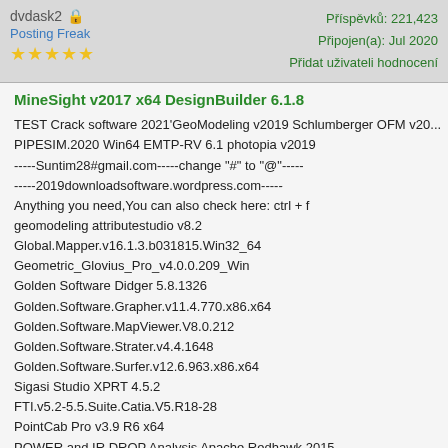dvdask2 | Příspěvků: 221,423 | Připojen(a): Jul 2020 | Přidat uživateli hodnocení
MineSight v2017 x64 DesignBuilder 6.1.8
TEST Crack software 2021'GeoModeling v2019 Schlumberger OFM v20...
PIPESIM.2020 Win64 EMTP-RV 6.1 photopia v2019
-----Suntim28#gmail.com-----change "#" to "@"-----
-----2019downloadsoftware.wordpress.com-----
Anything you need,You can also check here: ctrl + f
geomodeling attributestudio v8.2
Global.Mapper.v16.1.3.b031815.Win32_64
Geometric_Glovius_Pro_v4.0.0.209_Win
Golden Software Didger 5.8.1326
Golden.Software.Grapher.v11.4.770.x86.x64
Golden.Software.MapViewer.V8.0.212
Golden.Software.Strater.v4.4.1648
Golden.Software.Surfer.v12.6.963.x86.x64
Sigasi Studio XPRT 4.5.2
FTI.v5.2-5.5.Suite.Catia.V5.R18-28
PointCab Pro v3.9 R6 x64
POWER and IR DROP Analysis Apache Redhawk 2015
Synopsys FPGA Synthesis Products J-2015.03 SP1
SAP.PowerDesigner.v16.5.4.1.4535.x32x64
Scientific.Toolworks.Understand.v5.0.962.x86x64